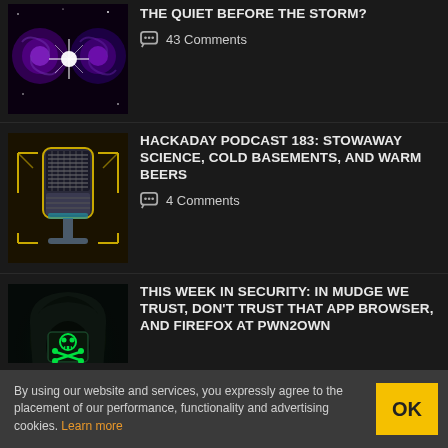THE QUIET BEFORE THE STORM?
43 Comments
[Figure (illustration): Two galaxy/nebula images side by side with a bright starburst in the center, dark background with purple cosmic imagery]
HACKADAY PODCAST 183: STOWAWAY SCIENCE, COLD BASEMENTS, AND WARM BEERS
4 Comments
[Figure (illustration): Retro microphone illustration with yellow circuit-board style decorative elements on dark background]
THIS WEEK IN SECURITY: IN MUDGE WE TRUST, DON'T TRUST THAT APP BROWSER, AND FIREFOX AT PWN2OWN
[Figure (illustration): Hooded hacker figure with glowing green skull-crossbones screen for a face, dark menacing illustration]
By using our website and services, you expressly agree to the placement of our performance, functionality and advertising cookies. Learn more